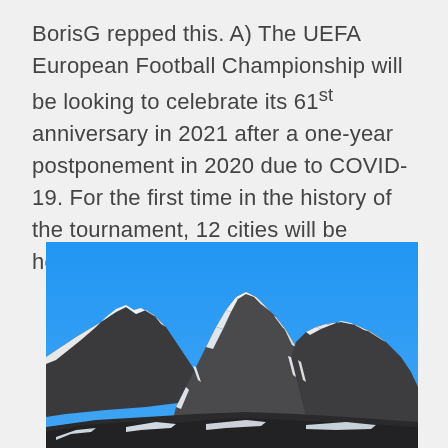BorisG repped this. A) The UEFA European Football Championship will be looking to celebrate its 61st anniversary in 2021 after a one-year postponement in 2020 due to COVID-19. For the first time in the history of the tournament, 12 cities will be hosting the tournament.
[Figure (photo): A photograph of snow-covered mountain peaks against a clear blue sky. The rocky mountains are heavily covered in snow and ice with dark rock visible through the snow.]